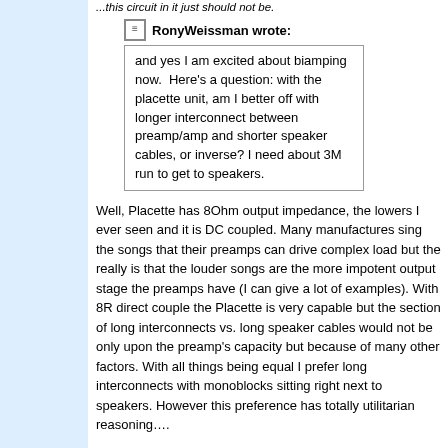...this circuit in it just should not be.
RonyWeissman wrote:
and yes I am excited about biamping now. Here's a question: with the placette unit, am I better off with longer interconnect between preamp/amp and shorter speaker cables, or inverse? I need about 3M run to get to speakers.
Well, Placette has 8Ohm output impedance, the lowers I ever seen and it is DC coupled. Many manufactures sing the songs that their preamps can drive complex load but the really is that the louder songs are the more impotent output stage the preamps have (I can give a lot of examples). With 8R direct couple the Placette is very capable but the section of long interconnects vs. long speaker cables would not be only upon the preamp's capacity but because of many other factors. With all things being equal I prefer long interconnects with monoblocks sitting right next to speakers. However this preference has totally utilitarian reasoning….
Rgs,
The CaT
"I wish I could score everything for horns." - Richard Wagner. "Our writing equipment takes part in the forming of our thoughts." - Friedrich Nietzsche